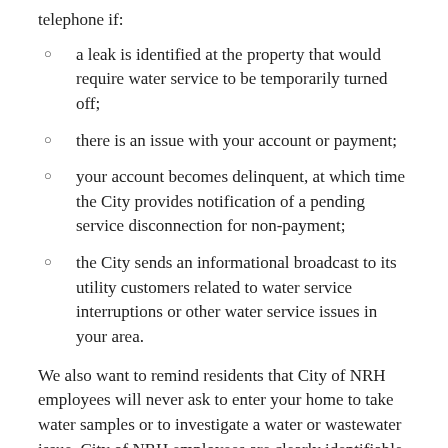telephone if:
a leak is identified at the property that would require water service to be temporarily turned off;
there is an issue with your account or payment;
your account becomes delinquent, at which time the City provides notification of a pending service disconnection for non-payment;
the City sends an informational broadcast to its utility customers related to water service interruptions or other water service issues in your area.
We also want to remind residents that City of NRH employees will never ask to enter your home to take water samples or to investigate a water or wastewater issue. City of NRH employees are clearly identifiable through their uniform, marked vehicle, and city-issued ID badge. You can also contact the city to verify their legitimacy. Report suspected scams to the Police non-